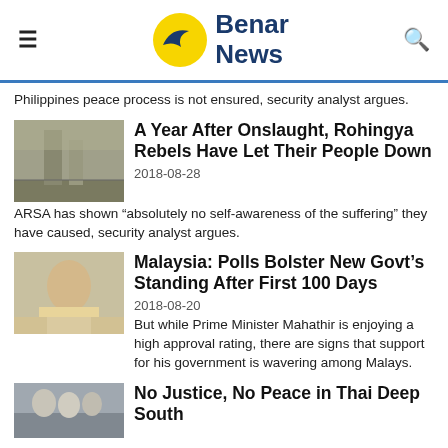Benar News
Philippines peace process is not ensured, security analyst argues.
A Year After Onslaught, Rohingya Rebels Have Let Their People Down
2018-08-28
ARSA has shown “absolutely no self-awareness of the suffering” they have caused, security analyst argues.
Malaysia: Polls Bolster New Govt’s Standing After First 100 Days
2018-08-20
But while Prime Minister Mahathir is enjoying a high approval rating, there are signs that support for his government is wavering among Malays.
No Justice, No Peace in Thai Deep South